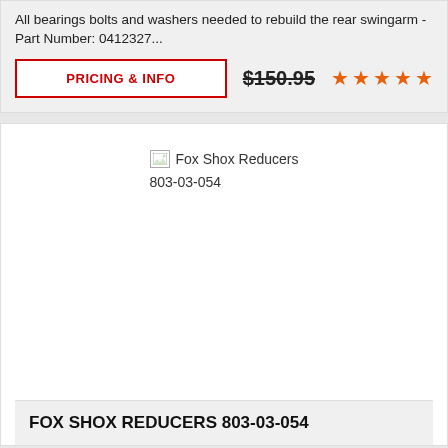All bearings bolts and washers needed to rebuild the rear swingarm - Part Number: 0412327...
PRICING & INFO
$150.95
[Figure (other): Five orange star rating icons]
[Figure (other): Broken image placeholder labeled Fox Shox Reducers with part number 803-03-054]
FOX SHOX REDUCERS 803-03-054